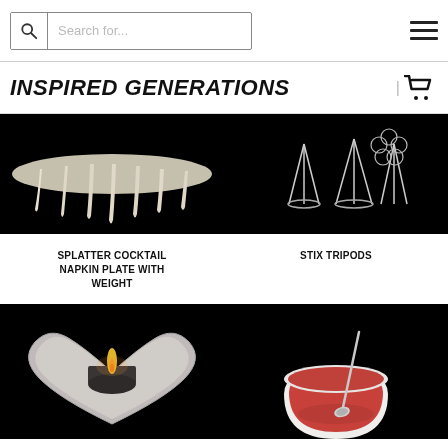Search for... [search bar] [hamburger menu]
INSPIRED GENERATIONS
[Figure (photo): Splatter cocktail napkin plate with weight on black background - dripping white liquid from above]
SPLATTER COCKTAIL NAPKIN PLATE WITH WEIGHT
[Figure (photo): Stix Tripods product on black background - wire/sticks forming tripod shapes]
STIX TRIPODS
[Figure (photo): Heart-shaped silver candle holder with lit candle flame on black background]
[Figure (photo): White bowl with red interior and silver spoon resting inside on black background]